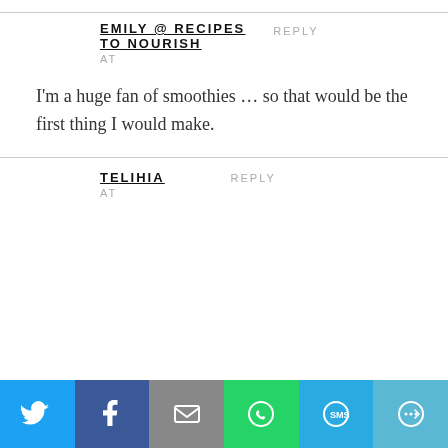EMILY @ RECIPES TO NOURISH
AT
REPLY
I'm a huge fan of smoothies … so that would be the first thing I would make.
TELIHIA
AT
REPLY
[Figure (infographic): Social media share bar with Twitter, Facebook, Email, WhatsApp, SMS, and More buttons]